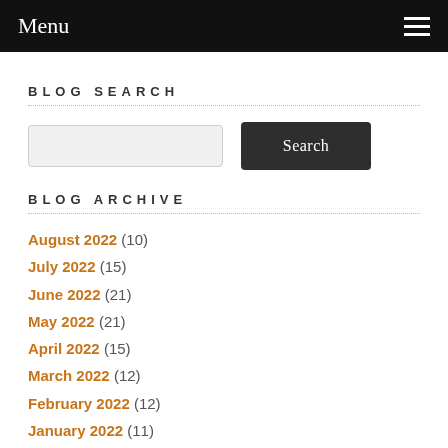Menu
BLOG SEARCH
BLOG ARCHIVE
August 2022 (10)
July 2022 (15)
June 2022 (21)
May 2022 (21)
April 2022 (15)
March 2022 (12)
February 2022 (12)
January 2022 (11)